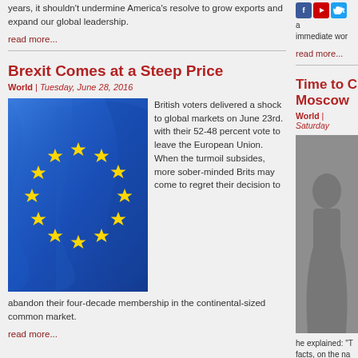years, it shouldn't undermine America's resolve to grow exports and expand our global leadership.
read more...
Brexit Comes at a Steep Price
World | Tuesday, June 28, 2016
[Figure (photo): EU flag with blue background and yellow stars]
British voters delivered a shock to global markets on June 23rd. with their 52-48 percent vote to leave the European Union. When the turmoil subsides, more sober-minded Brits may come to regret their decision to abandon their four-decade membership in the continental-sized common market.
read more...
[Figure (photo): Social media icons: Facebook, YouTube, Twitter]
a immediate wor
read more...
Time to C Moscow
World | Saturday
[Figure (photo): Photo of a person]
he explained: "facts, on the na Ukraine." Indee